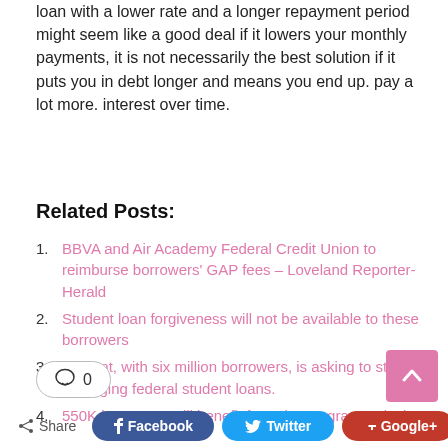loan with a lower rate and a longer repayment period might seem like a good deal if it lowers your monthly payments, it is not necessarily the best solution if it puts you in debt longer and means you end up. pay a lot more. interest over time.
Related Posts:
BBVA and Air Academy Federal Credit Union to reimburse borrowers' GAP fees – Loveland Reporter-Herald
Student loan forgiveness will not be available to these borrowers
Navient, with six million borrowers, is asking to stop managing federal student loans.
550K borrowers will benefit from the program redesign